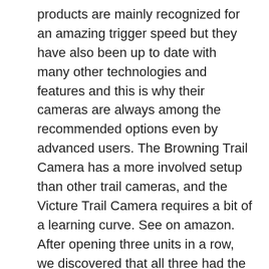products are mainly recognized for an amazing trigger speed but they have also been up to date with many other technologies and features and this is why their cameras are always among the recommended options even by advanced users. The Browning Trail Camera has a more involved setup than other trail cameras, and the Victure Trail Camera requires a bit of a learning curve. See on amazon. After opening three units in a row, we discovered that all three had the same problem. Equipped with a 16-megapixel camera, you'll be able to clearly see your prey like never before. From the standard resolution HD video to the impressive 1920 X 1080 video resolution with the top camera, Browning is one of the best options when it comes to video quality. Not all trail cameras offer video recording, but for many people, the superior level of information provided by seeing the wildlife on video is worth finding one that does. It can be programmed to shoot in bursts, delivering rapid-fire and